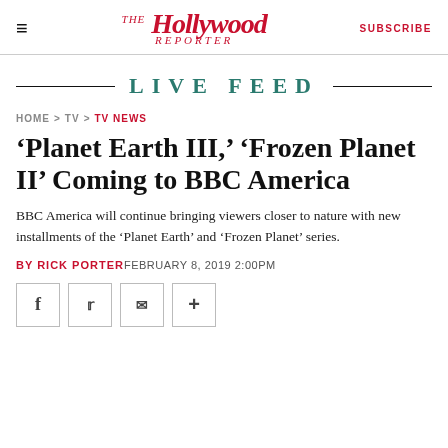The Hollywood Reporter — SUBSCRIBE
LIVE FEED
HOME > TV > TV NEWS
'Planet Earth III,' 'Frozen Planet II' Coming to BBC America
BBC America will continue bringing viewers closer to nature with new installments of the 'Planet Earth' and 'Frozen Planet' series.
BY RICK PORTER FEBRUARY 8, 2019 2:00PM